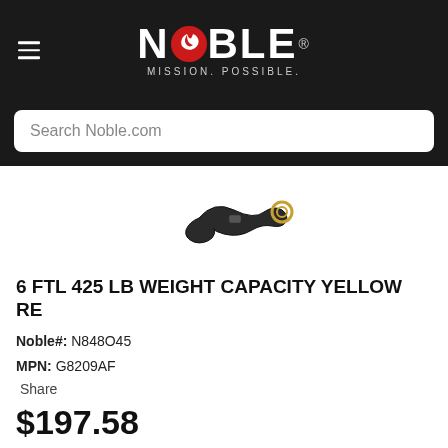[Figure (logo): Noble logo with hamburger menu icon, red and white stylized bird/flame inside the O, and tagline MISSION. POSSIBLE.]
Search Noble.com
[Figure (photo): Product image of a 6 FTL 425 LB weight capacity yellow rebar hook lanyard, shown as a black strap with gold-colored snap hook.]
6 FTL 425 LB WEIGHT CAPACITY YELLOW RE
Noble#: N848O45
MPN: G8209AF
Share
$197.58